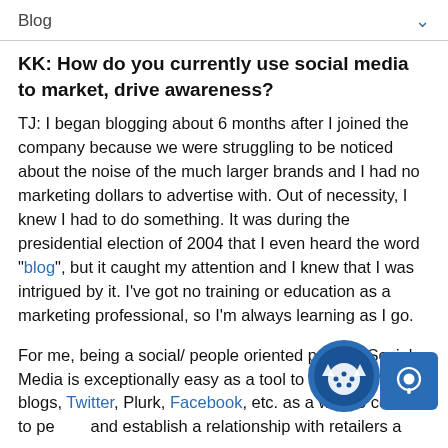Blog
KK: How do you currently use social media to market, drive awareness?
TJ: I began blogging about 6 months after I joined the company because we were struggling to be noticed about the noise of the much larger brands and I had no marketing dollars to advertise with. Out of necessity, I knew I had to do something. It was during the presidential election of 2004 that I even heard the word "blog", but it caught my attention and I knew that I was intrigued by it. I've got no training or education as a marketing professional, so I'm always learning as I go.
For me, being a social/ people oriented person, Social Media is exceptionally easy as a tool to connect. I use blogs, Twitter, Plurk, Facebook, etc. as a way to connect to people and establish a relationship with retailers and consumers both. The Moxi brand was built on the...